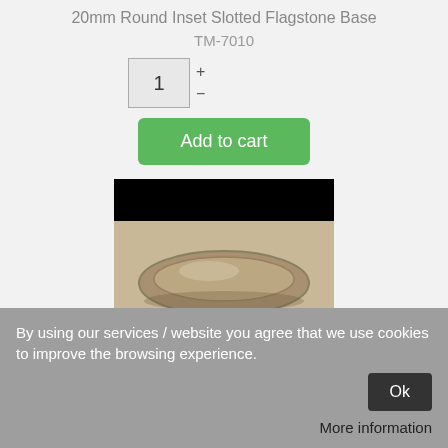20mm Round Inset Slotted Flagstone Base
TM-7010
[Figure (photo): Photo of a 20mm round inset slotted flagstone miniature base, oval shaped, metal/pewter colored, on a beige background with black top and bottom borders]
By using our services / website you agree that we use cookies to improve the browsing experience.
Ok
More information